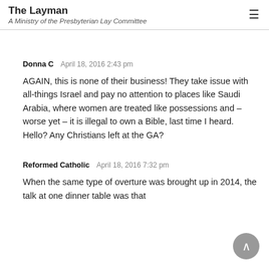The Layman
A Ministry of the Presbyterian Lay Committee
Donna C   April 18, 2016 2:43 pm

AGAIN, this is none of their business! They take issue with all-things Israel and pay no attention to places like Saudi Arabia, where women are treated like possessions and – worse yet – it is illegal to own a Bible, last time I heard. Hello? Any Christians left at the GA?
Reformed Catholic   April 18, 2016 7:32 pm

When the same type of overture was brought up in 2014, the talk at one dinner table was that